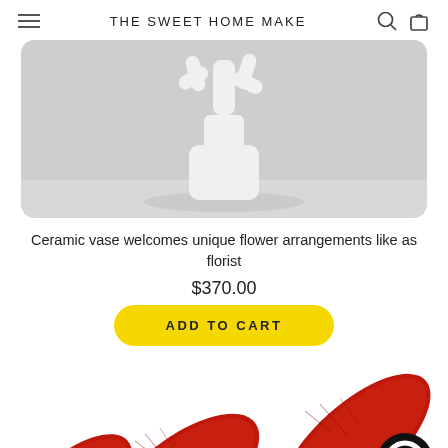THE SWEET HOME MAKE
[Figure (photo): White ceramic vase shaped like a hand/tree with finger-like branches, on a light gray background.]
Ceramic vase welcomes unique flower arrangements like as florist
$370.00
ADD TO CART
[Figure (photo): Two red crackle-glazed ceramic oval/elongated objects (possibly vases or decorative pieces) partially visible at the bottom. A black and yellow chat/support icon is visible in the bottom right corner.]